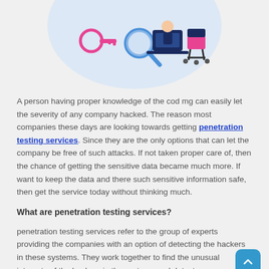[Figure (illustration): Isometric illustration of cybersecurity concept: a person with magnifying glass, laptop, key, and office chair on a light blue circular background]
A person having proper knowledge of the cod mg can easily let the severity of any company hacked. The reason most companies these days are looking towards getting penetration testing services. Since they are the only options that can let the company be free of such attacks. If not taken proper care of, then the chance of getting the sensitive data became much more. If want to keep the data and there such sensitive information safe, then get the service today without thinking much.
What are penetration testing services?
penetration testing services refer to the group of experts providing the companies with an option of detecting the hackers in these systems. They work together to find the unusual interests of the hackers in the systems and detect